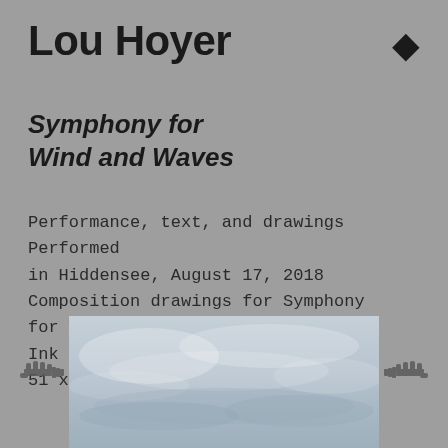Lou Hoyer
Symphony for Wind and Waves
Performance, text, and drawings Performed in Hiddensee, August 17, 2018 Composition drawings for Symphony for Wind and Waves, 2018 Ink on paper 51 x 36 cm
[Figure (photo): Photograph showing a grey cloudy sky, partially visible from the bottom of the page, with navigation arrows on each side.]